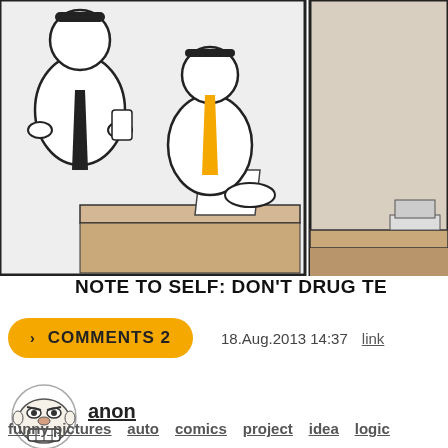[Figure (illustration): Comic strip panels showing two characters - one standing with dark tie, one sitting at a desk with orange tie. Right panel shows partial view of desk scene.]
NOTE TO SELF: DON'T DRUG TE
COMMENTS 2
18.Aug.2013 14:37  link
[Figure (illustration): Troll face avatar image]
anon
funny pictures  auto  comics  project  idea  logic